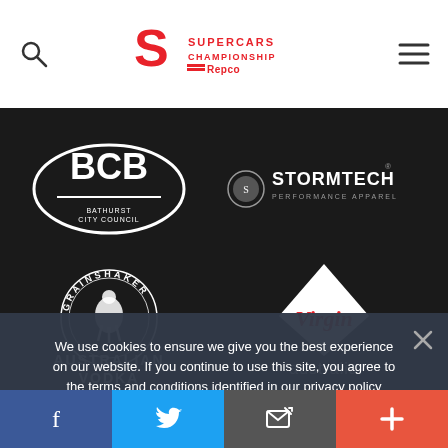Supercars Championship Repco
[Figure (logo): BCB logo - oval shaped badge with BCB text]
[Figure (logo): Stormtech Performance Apparel logo]
[Figure (logo): Grainshaker Australian Vodka logo]
[Figure (logo): Virgin Australia logo with diamond shape]
We use cookies to ensure we give you the best experience on our website. If you continue to use this site, you agree to the terms and conditions identified in our privacy policy
[Figure (screenshot): Advertisement banner with MCA logo, Dine-in and Curbside pickup options]
[Figure (infographic): Social share bar with Facebook, Twitter, Email and Plus buttons]